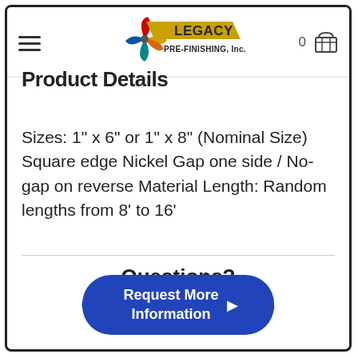[Figure (logo): Legacy Pre-Finishing Inc. logo with colorful pinwheel and gold parallelogram banner]
Product Details
Sizes: 1" x 6" or 1" x 8" (Nominal Size) Square edge Nickel Gap one side / No-gap on reverse Material Length: Random lengths from 8' to 16'
Questions?
Call us: 704-528-7136
Request More Information